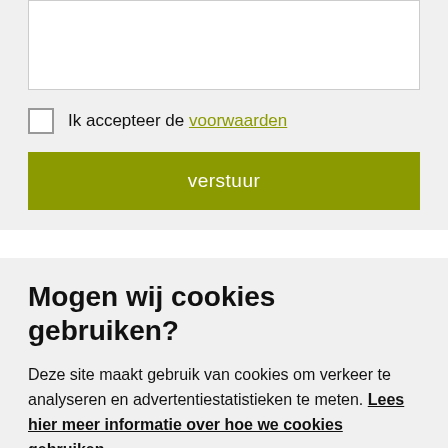[Figure (screenshot): Empty white textarea input field with grey border]
Ik accepteer de voorwaarden
verstuur
Mogen wij cookies gebruiken?
Deze site maakt gebruik van cookies om verkeer te analyseren en advertentiestatistieken te meten. Lees hier meer informatie over hoe we cookies gebruiken